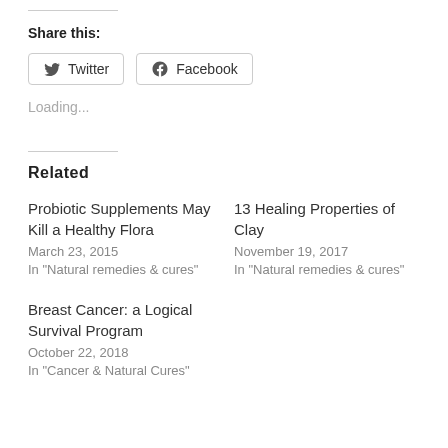Share this:
Twitter  Facebook
Loading...
Related
Probiotic Supplements May Kill a Healthy Flora
March 23, 2015
In "Natural remedies & cures"
13 Healing Properties of Clay
November 19, 2017
In "Natural remedies & cures"
Breast Cancer: a Logical Survival Program
October 22, 2018
In "Cancer & Natural Cures"